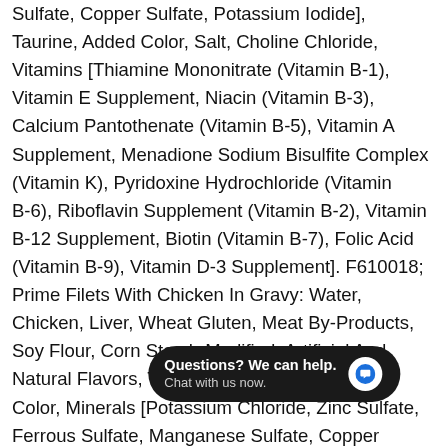Sulfate, Copper Sulfate, Potassium Iodide], Taurine, Added Color, Salt, Choline Chloride, Vitamins [Thiamine Mononitrate (Vitamin B-1), Vitamin E Supplement, Niacin (Vitamin B-3), Calcium Pantothenate (Vitamin B-5), Vitamin A Supplement, Menadione Sodium Bisulfite Complex (Vitamin K), Pyridoxine Hydrochloride (Vitamin B-6), Riboflavin Supplement (Vitamin B-2), Vitamin B-12 Supplement, Biotin (Vitamin B-7), Folic Acid (Vitamin B-9), Vitamin D-3 Supplement]. F610018; Prime Filets With Chicken In Gravy: Water, Chicken, Liver, Wheat Gluten, Meat By-Products, Soy Flour, Corn Starch-Modified, Artificial And Natural Flavors, Tricalcium Phosphate, Added Color, Minerals [Potassium Chloride, Zinc Sulfate, Ferrous Sulfate, Manganese Sulfate, Copper Sulfate, Potassium Iodide], Taurine, Salt, Choline Chloride, Vitamins [Thiamine Mononitrate (Vitamin B-1), Vitamin E Supplement, Niacin (Vitamin B-3), Calcium Pantothenate (Vitamin B-5), Vitamin A Supplement, Menadione Sodium Bisulfite Complex (Vitamin K), Pyridoxine Hydrochloride (Vitamin B-6), Riboflavin Supplement (Vitamin B-2), Vitamin B-12 Supplement, Biotin (Vitamin B-7), Folic Acid (Vitamin B-9), Vitamin D-3 Supplement